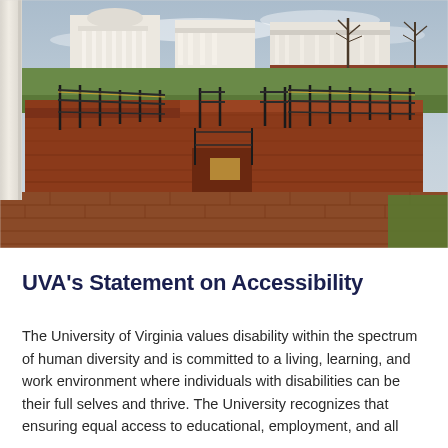[Figure (photo): Photograph of a brick accessibility ramp with black metal railings at the University of Virginia, with white colonial buildings visible in the background on a cloudy day.]
UVA's Statement on Accessibility
The University of Virginia values disability within the spectrum of human diversity and is committed to a living, learning, and work environment where individuals with disabilities can be their full selves and thrive. The University recognizes that ensuring equal access to educational, employment, and all